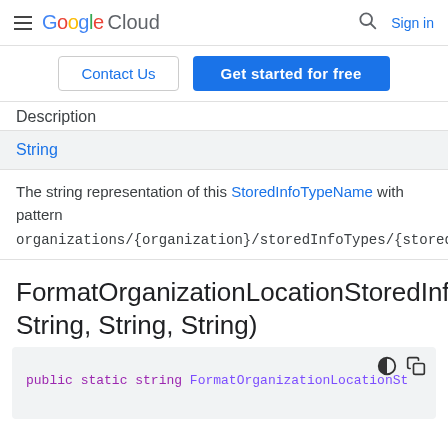Google Cloud  Sign in
Contact Us  Get started for free
Description
String
The string representation of this StoredInfoTypeName with pattern organizations/{organization}/storedInfoTypes/{stored_info_type}.
FormatOrganizationLocationStoredInfoType(String, String, String)
public static string FormatOrganizationLocationSt